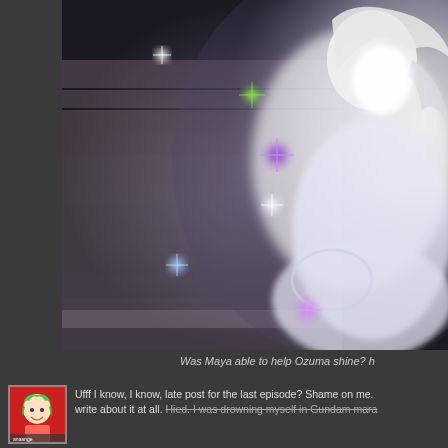[Figure (illustration): Anime-style illustration of a glowing white-haired character surrounded by sparkles and lens flares against a dark background with horizontal light bands]
Was Maya able to help Ozuma shine? h
Ufff I know, I know, late post for the last episode? Shame on me. write about it at all. Hied. I was drowning myself in Gundam mara